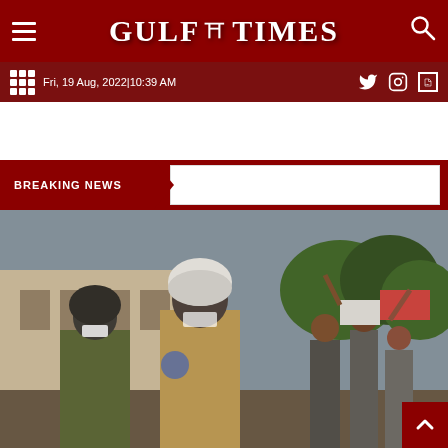GULF TIMES
Fri, 19 Aug, 2022|10:39 AM
BREAKING NEWS
[Figure (photo): Riot police in helmets and military personnel in camouflage facing a crowd of protesters holding signs, outdoors near a building with trees in background.]